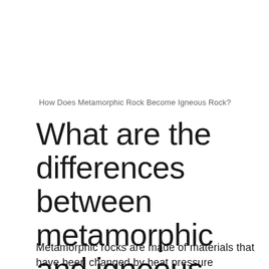How Does Metamorphic Rock Become Igneous Rock?
What are the differences between metamorphic and igneous rocks?
Metamorphic rocks are made of materials that have been changed by heat pressure